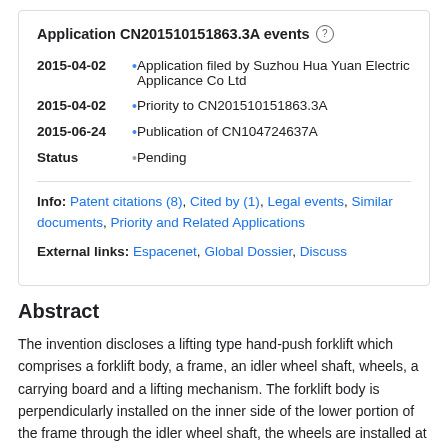Application CN201510151863.3A events
2015-04-02 - Application filed by Suzhou Hua Yuan Electric Applicance Co Ltd
2015-04-02 - Priority to CN201510151863.3A
2015-06-24 - Publication of CN104724637A
Status - Pending
Info: Patent citations (8), Cited by (1), Legal events, Similar documents, Priority and Related Applications
External links: Espacenet, Global Dossier, Discuss
Abstract
The invention discloses a lifting type hand-push forklift which comprises a forklift body, a frame, an idler wheel shaft, wheels, a carrying board and a lifting mechanism. The forklift body is perpendicularly installed on the inner side of the lower portion of the frame through the idler wheel shaft, the wheels are installed at the front end of the